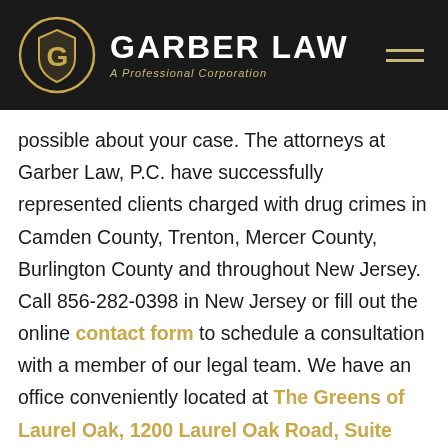[Figure (logo): Garber Law logo with circular gold shield emblem and text 'GARBER LAW A Professional Corporation' on dark background]
possible about your case. The attorneys at Garber Law, P.C. have successfully represented clients charged with drug crimes in Camden County, Trenton, Mercer County, Burlington County and throughout New Jersey. Call 856-282-0398 in New Jersey or fill out the online contact form to schedule a consultation with a member of our legal team. We have an office conveniently located at The Greens of Laurel Oak, 1200 Laurel Oak Road, Suite 104, Voorhees, NJ 08043, as well as offices located in Philadelphia in the Aramark Building...